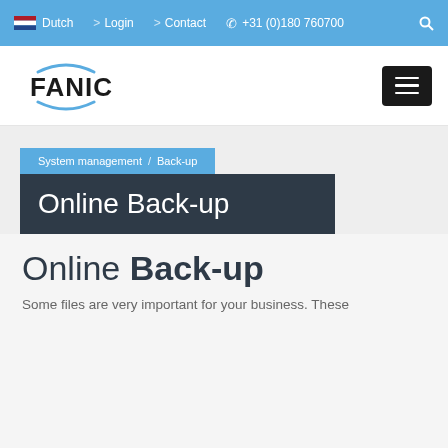Dutch  > Login  > Contact  +31 (0)180 760700
[Figure (logo): FANIC company logo with arc design]
System management / Back-up
Online Back-up
Online Back-up
Some files are very important for your business. These